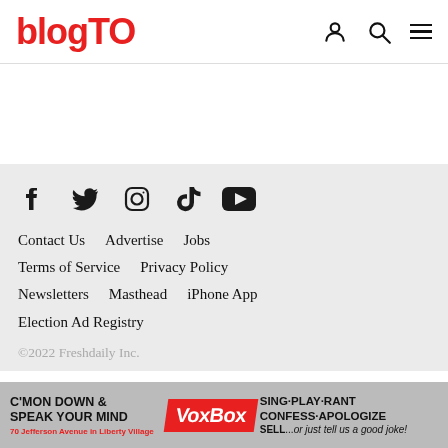blogTO
[Figure (other): Social media icons row: Facebook, Twitter, Instagram, TikTok, YouTube]
Contact Us   Advertise   Jobs
Terms of Service   Privacy Policy
Newsletters   Masthead   iPhone App
Election Ad Registry
©2022 Freshdaily Inc.
[Figure (other): Advertisement banner: C'MON DOWN & SPEAK YOUR MIND VoxBox SING·PLAY·RANT CONFESS·APOLOGIZE SELL...or just tell us a good joke! 70 Jefferson Avenue in Liberty Village]